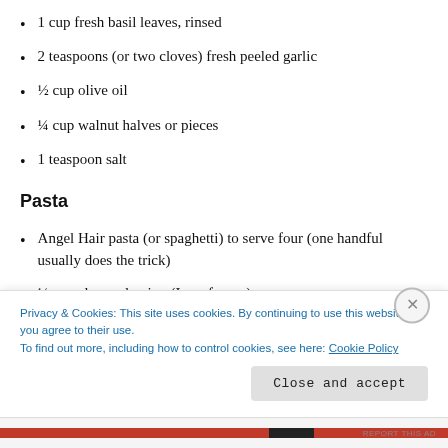1 cup fresh basil leaves, rinsed
2 teaspoons (or two cloves) fresh peeled garlic
½ cup olive oil
¼ cup walnut halves or pieces
1 teaspoon salt
Pasta
Angel Hair pasta (or spaghetti) to serve four (one handful usually does the trick)
½ cup chopped onion (I use frozen)
Privacy & Cookies: This site uses cookies. By continuing to use this website, you agree to their use.
To find out more, including how to control cookies, see here: Cookie Policy
Close and accept